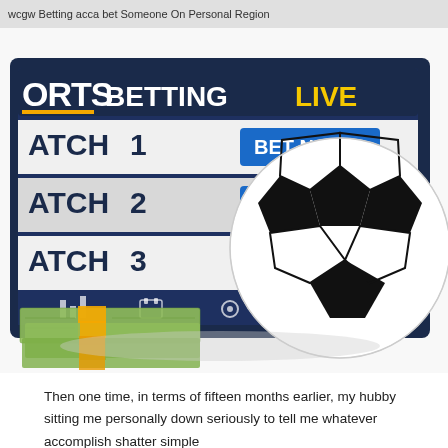wcgw Betting acca bet Someone On Personal Region
[Figure (photo): Sports betting live interface on a screen showing MATCH 1, MATCH 2, MATCH 3 with BET NOW buttons, stacks of dollar bills with orange bands, and a soccer ball in front of the screen on white background.]
Then one time, in terms of fifteen months earlier, my hubby sitting me personally down seriously to tell me whatever accomplish shatter simple